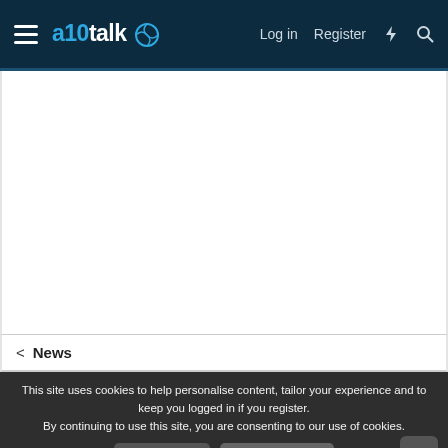a10talk — Log in  Register
[Figure (screenshot): White blank content area of the a10talk website]
< News
This site uses cookies to help personalise content, tailor your experience and to keep you logged in if you register. By continuing to use this site, you are consenting to our use of cookies.
✓ Accept   Learn more...